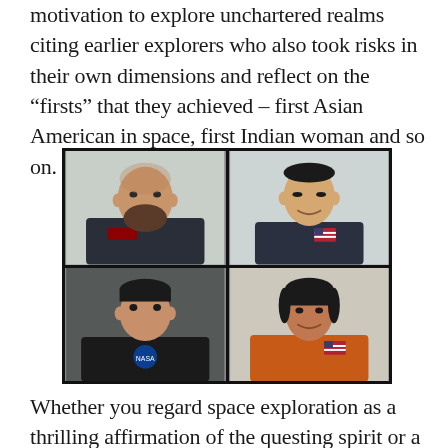motivation to explore unchartered realms citing earlier explorers who also took risks in their own dimensions and reflect on the “firsts” that they achieved – first Asian American in space, first Indian woman and so on.
[Figure (photo): A 2x2 video call grid showing four people: top-left is a bearded man in a dark uniform with patches, top-right is an Asian man in a dark shirt with a US flag patch, bottom-left is a young man in a black NASA jacket looking upward, bottom-right is a woman in an orange jacket with a US flag patch.]
Whether you regard space exploration as a thrilling affirmation of the questing spirit or a horrendous waste of resources, there is something inherently noble in the